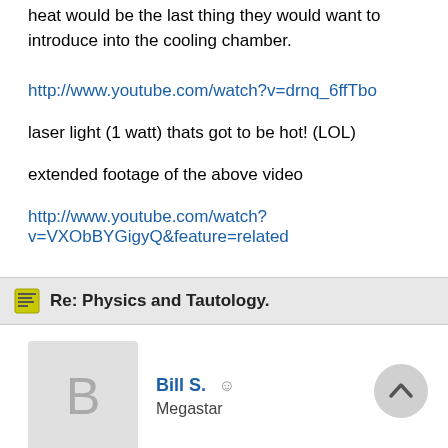heat would be the last thing they would want to introduce into the cooling chamber.
http://www.youtube.com/watch?v=drnq_6ffTbo
laser light (1 watt) thats got to be hot! (LOL)
extended footage of the above video
http://www.youtube.com/watch?v=VXObBYGigyQ&feature=related
Re: Physics and Tautology.
Bill S. — Megastar
Good links, Paul. Now I know, sort of, how laser cooling works. I assum slowed down is transferred to the laser photons. Where does it go from